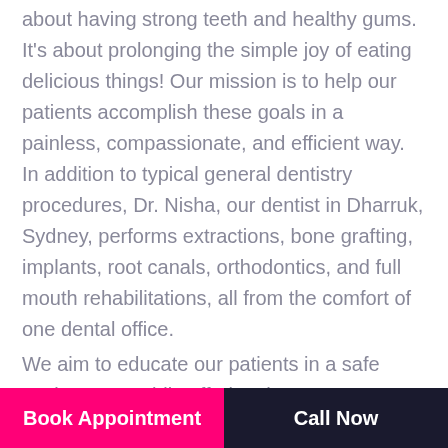about having strong teeth and healthy gums. It's about prolonging the simple joy of eating delicious things! Our mission is to help our patients accomplish these goals in a painless, compassionate, and efficient way. In addition to typical general dentistry procedures, Dr. Nisha, our dentist in Dharruk, Sydney, performs extractions, bone grafting, implants, root canals, orthodontics, and full mouth rehabilitations, all from the comfort of one dental office.

We aim to educate our patients in a safe environment while offering them necessary comprehensive care. We understand that many people have anxiety about dental treatment, so we created a soothing
Book Appointment | Call Now